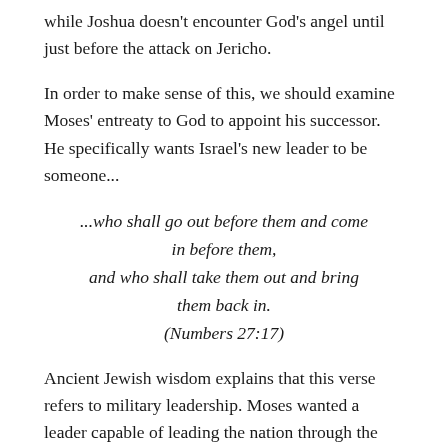while Joshua doesn't encounter God's angel until just before the attack on Jericho.
In order to make sense of this, we should examine Moses' entreaty to God to appoint his successor.  He specifically wants Israel's new leader to be someone...
...who shall go out before them and come in before them, and who shall take them out and bring them back in. (Numbers 27:17)
Ancient Jewish wisdom explains that this verse refers to military leadership. Moses wanted a leader capable of leading the nation through the many wars awaiting them as they conquered the Promised Land.
However, he did not want the future leader to be someone who sent Israel off to war from the comfort of his palace.  He